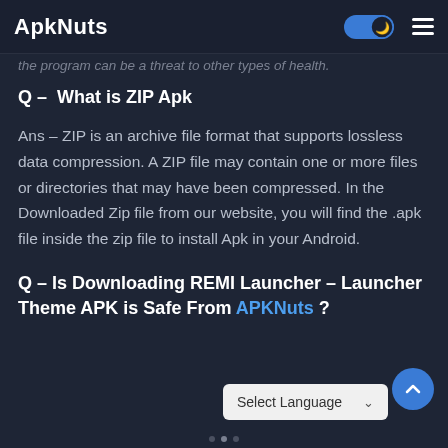ApkNuts
The program can be a threat to other types of health.
Q – What is ZIP Apk
Ans – ZIP is an archive file format that supports lossless data compression. A ZIP file may contain one or more files or directories that may have been compressed. In the Downloaded Zip file from our website, you will find the .apk file inside the zip file to install Apk in your Android.
Q – Is Downloading REMI Launcher – Launcher Theme APK is Safe From APKNuts ?